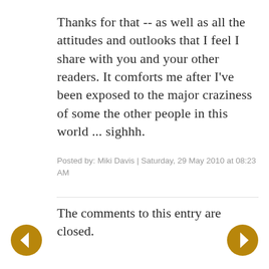Thanks for that -- as well as all the attitudes and outlooks that I feel I share with you and your other readers. It comforts me after I've been exposed to the major craziness of some the other people in this world ... sighhh.
Posted by: Miki Davis | Saturday, 29 May 2010 at 08:23 AM
The comments to this entry are closed.